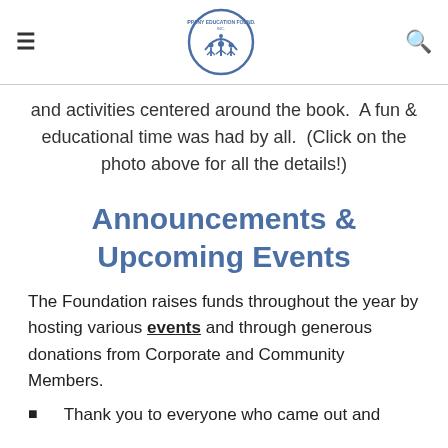Parsippany Education Foundation
and activities centered around the book.  A fun & educational time was had by all.  (Click on the photo above for all the details!)
Announcements & Upcoming Events
The Foundation raises funds throughout the year by hosting various events and through generous donations from Corporate and Community Members.
Thank you to everyone who came out and